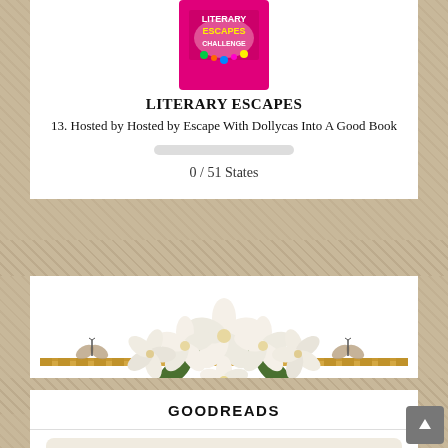[Figure (logo): Literary Escapes Challenge logo — pink background with colorful text and US map graphic]
LITERARY ESCAPES
13. Hosted by Hosted by Escape With Dollycas Into A Good Book
[Figure (infographic): Progress bar showing 0 / 51 States]
0 / 51 States
[Figure (illustration): Decorative floral divider with white magnolia flowers and butterflies on a striped ribbon]
GOODREADS
2021 Reading